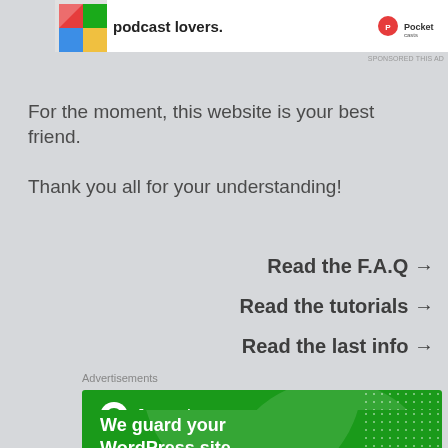[Figure (illustration): Top advertisement banner with a colorful logo on the left, text 'podcast lovers.' in bold, and a brand logo on the right, with 'SPONSORED THIS AD' label below right.]
For the moment, this website is your best friend.
Thank you all for your understanding!
Read the F.A.Q →
Read the tutorials →
Read the last info →
Advertisements
[Figure (illustration): Jetpack advertisement banner with green background, Jetpack logo and icon, large circular decoration, dot pattern, and text 'We guard your WordPress site.']